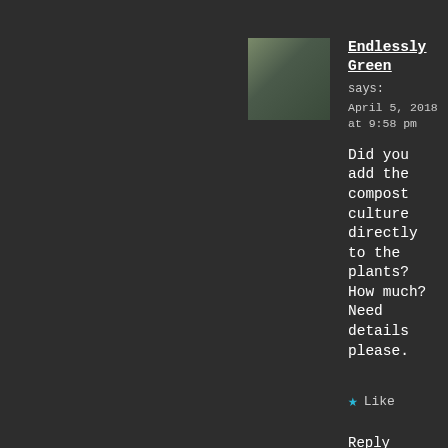[Figure (photo): Small avatar photo of a person sitting by a window with a view, dark silhouette against bright window]
Endlessly Green
says:
April 5, 2018 at 9:58 pm
Did you add the compost culture directly to the plants? How much? Need details please.
Like
Reply